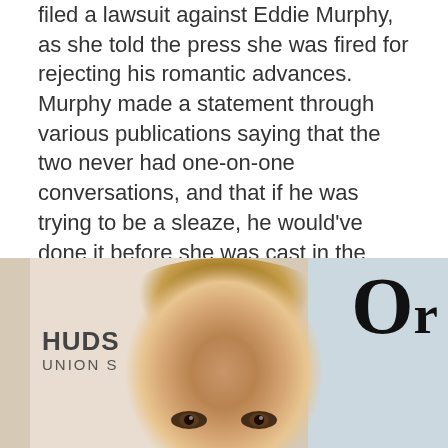filed a lawsuit against Eddie Murphy, as she told the press she was fired for rejecting his romantic advances. Murphy made a statement through various publications saying that the two never had one-on-one conversations, and that if he was trying to be a sleaze, he would've done it before she was cast in the role. The lawsuit was later settled out of court for an undisclosed sum.
[Figure (photo): A woman with blonde-brown hair pulled back, wearing makeup, photographed at what appears to be an event with a Hudson Union Society backdrop and an O logo visible.]